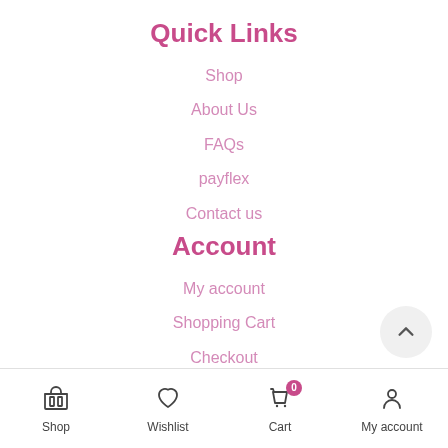Quick Links
Shop
About Us
FAQs
payflex
Contact us
Account
My account
Shopping Cart
Checkout
Track order
Terms & Conditions
Shop | Wishlist | Cart (0) | My account